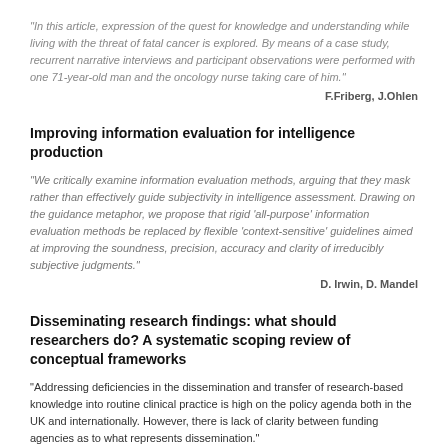“In this article, expression of the quest for knowledge and understanding while living with the threat of fatal cancer is explored. By means of a case study, recurrent narrative interviews and participant observations were performed with one 71-year-old man and the oncology nurse taking care of him.”
F.Friberg, J.Ohlen
Improving information evaluation for intelligence production
“We critically examine information evaluation methods, arguing that they mask rather than effectively guide subjectivity in intelligence assessment. Drawing on the guidance metaphor, we propose that rigid ‘all-purpose’ information evaluation methods be replaced by flexible ‘context-sensitive’ guidelines aimed at improving the soundness, precision, accuracy and clarity of irreducibly subjective judgments.”
D. Irwin, D. Mandel
Disseminating research findings: what should researchers do? A systematic scoping review of conceptual frameworks
“Addressing deficiencies in the dissemination and transfer of research-based knowledge into routine clinical practice is high on the policy agenda both in the UK and internationally. However, there is lack of clarity between funding agencies as to what represents dissemination.”